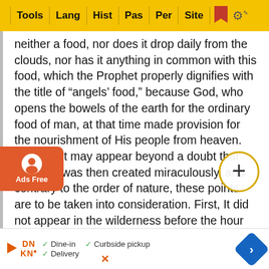Tools | Lang | Hist | Pas | Per | Site
neither a food, nor does it drop daily from the clouds, nor has it anything in common with this food, which the Prophet properly dignifies with the title of “angels’ food,” because God, who opens the bowels of the earth for the ordinary food of man, at that time made provision for the nourishment of His people from heaven. And that it may appear beyond a doubt that this food was then created miraculously, and contrary to the order of nature, these points are to be taken into consideration. First, It did not appear in the wilderness before the hour assigned by Moses in obedience to God’s command. Secondly, No change of weather prevented the manna from dropping in a regular measure; neither frost, nor rain, nor heat, nor winter, nor summer, interrupted the course of its distillation. Thirdly, A quantity sufficient for the immense multitude was found every day, when they took an omer for every individual. Again, on the sixth day, the quantity was double, that is, two omers for every man; beyond their c… reas.